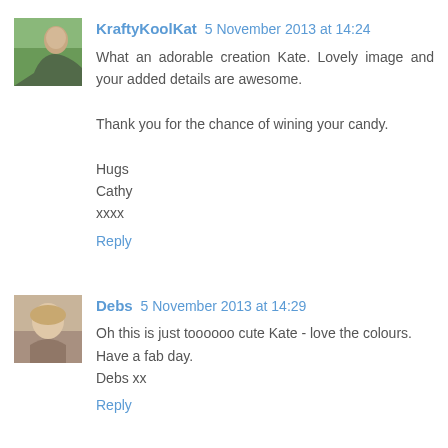KraftyKoolKat 5 November 2013 at 14:24
What an adorable creation Kate. Lovely image and your added details are awesome.

Thank you for the chance of wining your candy.

Hugs
Cathy
xxxx
Reply
Debs 5 November 2013 at 14:29
Oh this is just toooooo cute Kate - love the colours.
Have a fab day.
Debs xx
Reply